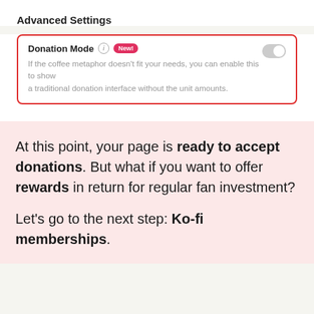Advanced Settings
Donation Mode [New] — If the coffee metaphor doesn't fit your needs, you can enable this to show a traditional donation interface without the unit amounts.
[Figure (screenshot): A toggle switch (off position) for the Donation Mode setting]
At this point, your page is ready to accept donations. But what if you want to offer rewards in return for regular fan investment?
Let's go to the next step: Ko-fi memberships.